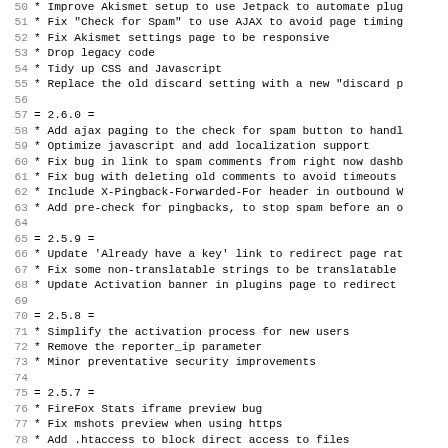50 * Improve Akismet setup to use Jetpack to automate plug
51 * Fix "Check for Spam" to use AJAX to avoid page timing
52 * Fix Akismet settings page to be responsive
53 * Drop legacy code
54 * Tidy up CSS and Javascript
55 * Replace the old discard setting with a new "discard p
56
57 = 2.6.0 =
58 * Add ajax paging to the check for spam button to handl
59 * Optimize javascript and add localization support
60 * Fix bug in link to spam comments from right now dashb
61 * Fix bug with deleting old comments to avoid timeouts
62 * Include X-Pingback-Forwarded-For header in outbound W
63 * Add pre-check for pingbacks, to stop spam before an o
64
65 = 2.5.9 =
66 * Update 'Already have a key' link to redirect page rat
67 * Fix some non-translatable strings to be translatable
68 * Update Activation banner in plugins page to redirect
69
70 = 2.5.8 =
71 * Simplify the activation process for new users
72 * Remove the reporter_ip parameter
73 * Minor preventative security improvements
74
75 = 2.5.7 =
76 * FireFox Stats iframe preview bug
77 * Fix mshots preview when using https
78 * Add .htaccess to block direct access to files
79 * Prevent some PHP notices
80 * Fix Check For Spam return location when referrer is e
81 * Fix Settings links for network admins
82 * Fix prepare() warnings in WP 3.5